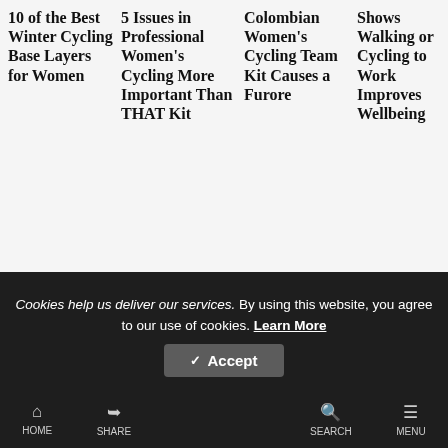10 of the Best Winter Cycling Base Layers for Women
5 Issues in Professional Women's Cycling More Important Than THAT Kit
Colombian Women's Cycling Team Kit Causes a Furore
Shows Walking or Cycling to Work Improves Wellbeing
Announced the Winner of the Design-a-Jersey Competition
Cookies help us deliver our services. By using this website, you agree to our use of cookies. Learn More
HOME   SHARE   SEARCH   MENU